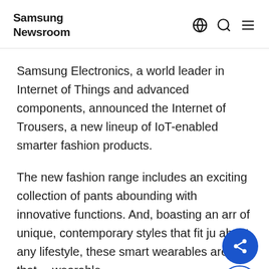Samsung Newsroom
Samsung Electronics, a world leader in Internet of Things and advanced components, announced the Internet of Trousers, a new lineup of IoT-enabled smarter fashion products.
The new fashion range includes an exciting collection of pants abounding with innovative functions. And, boasting an array of unique, contemporary styles that fit just about any lifestyle, these smart wearables are just that… wearable.